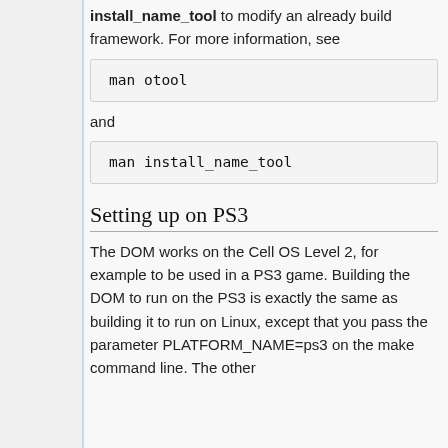install_name_tool to modify an already build framework. For more information, see
man otool
and
man install_name_tool
Setting up on PS3
The DOM works on the Cell OS Level 2, for example to be used in a PS3 game. Building the DOM to run on the PS3 is exactly the same as building it to run on Linux, except that you pass the parameter PLATFORM_NAME=ps3 on the make command line. The other